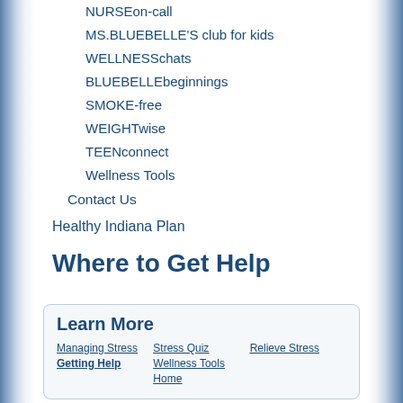NURSEon-call
MS.BLUEBELLE'S club for kids
WELLNESSchats
BLUEBELLEbeginnings
SMOKE-free
WEIGHTwise
TEENconnect
Wellness Tools
Contact Us
Healthy Indiana Plan
Where to Get Help
Learn More
Managing Stress
Stress Quiz
Relieve Stress
Getting Help
Wellness Tools
Home